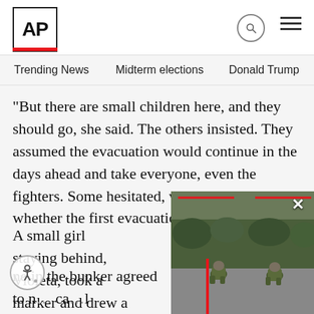AP
Trending News  Midterm elections  Donald Trump  Russia-Ukr
But there are small children here, and they should go, she said. The others insisted. They assumed the evacuation would continue in the days ahead and take everyone, even the fighters. Some hesitated, wanting to see whether the first evacuation was a success.
A small girl staying behind, Violeta, took a marker and drew a flower, a heart and “Good l… The bunker residents had shortene… Leta, or “sunlight.”
[Figure (photo): Soldiers in green uniforms crouching on a street, with red annotation lines overlaid on the image.]
ne in the bunker agreed to n… ca…l Zaporizhzhia when the eva…